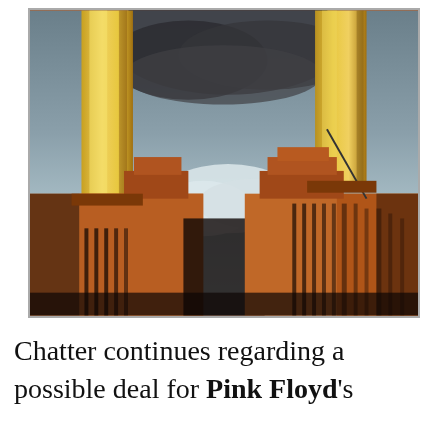[Figure (illustration): Album cover artwork for Pink Floyd's 'Animals' — showing the Battersea Power Station with tall golden/yellow chimneys rising against a dramatic cloudy sky. The brick building is rendered in warm orange-brown tones with dark shadowed sections. The style is illustrated/painted.]
Chatter continues regarding a possible deal for Pink Floyd's